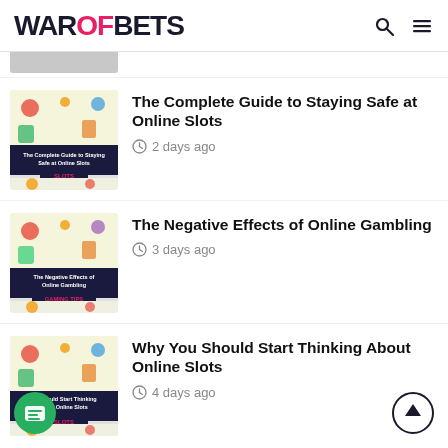WAROFBETS
[Figure (screenshot): Partial article thumbnail cropped at top]
[Figure (illustration): The Complete Guide to Staying Safe at Online Slots thumbnail]
The Complete Guide to Staying Safe at Online Slots
2 days ago
[Figure (illustration): The Negative Effects of Online Gambling thumbnail]
The Negative Effects of Online Gambling
3 days ago
[Figure (illustration): Why You Should Start Thinking About Online Slots thumbnail]
Why You Should Start Thinking About Online Slots
4 days ago